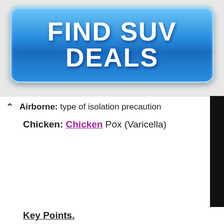[Figure (screenshot): Blue gradient button advertisement reading 'FIND SUV DEALS' in bold white text]
Airborne: type of isolation precaution
Chicken: Chicken Pox (Varicella)
This website uses cookies, plugins, and analytics software to collect basic information so that we can provide a good user experience. Do you consent to our privacy policy?
I Consent!
Key Points.